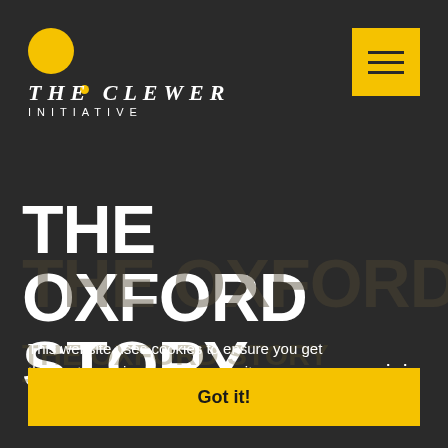[Figure (logo): The Clewer Initiative logo: yellow circle and dot above text 'THE CLEWER INITIATIVE']
[Figure (other): Yellow hamburger menu button with three horizontal lines]
THE OXFORD STORY
This website uses cookies to ensure you get the best experience on our website.
Learn more
join
Got it!